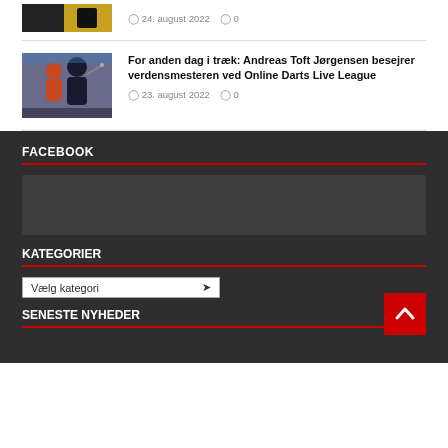24. august 2022  0
For anden dag i træk: Andreas Toft Jørgensen besejrer verdensmesteren ved Online Darts Live League
23. august 2022  0
FACEBOOK
[Figure (other): Facebook widget placeholder area]
KATEGORIER
Vælg kategori
SENESTE NYHEDER